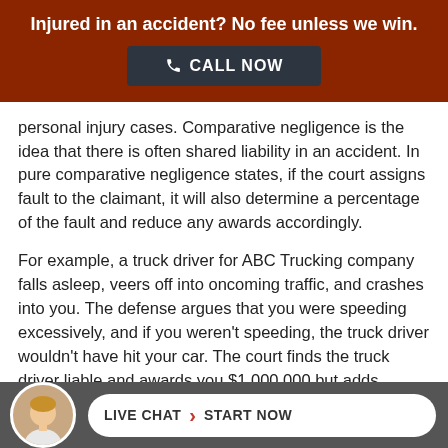Injured in an accident? No fee unless we win. CALL NOW
personal injury cases. Comparative negligence is the idea that there is often shared liability in an accident. In pure comparative negligence states, if the court assigns fault to the claimant, it will also determine a percentage of the fault and reduce any awards accordingly.
For example, a truck driver for ABC Trucking company falls asleep, veers off into oncoming traffic, and crashes into you. The defense argues that you were speeding excessively, and if you weren't speeding, the truck driver wouldn't have hit your car. The court finds the truck driver liable and awards you $1,000,000 but adds
LIVE CHAT › START NOW